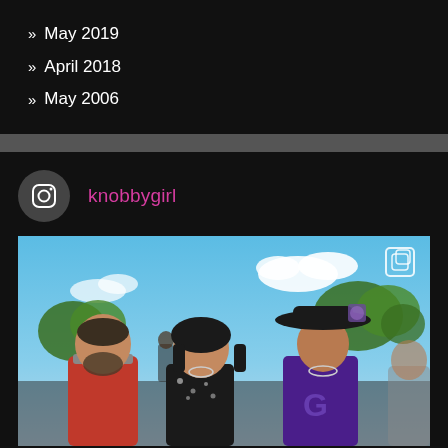» May 2019
» April 2018
» May 2006
knobbygirl
[Figure (photo): Instagram post by knobbygirl showing three people posing together outdoors at what appears to be a sports event. A man in a red jacket on the left, a woman in a floral dress in the center, and a young man wearing a purple jacket and wide-brimmed hat on the right. Blue sky and trees visible in background.]